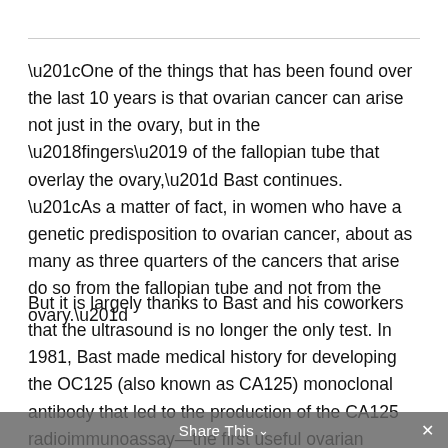“One of the things that has been found over the last 10 years is that ovarian cancer can arise not just in the ovary, but in the ‘fingers’ of the fallopian tube that overlay the ovary,” Bast continues. “As a matter of fact, in women who have a genetic predisposition to ovarian cancer, about as many as three quarters of the cancers that arise do so from the fallopian tube and not from the ovary.”
But it is largely thanks to Bast and his coworkers that the ultrasound is no longer the only test. In 1981, Bast made medical history for developing the OC125 (also known as CA125) monoclonal antibody that led to the production of the CA125 radioimmunoassay—the first useful ovarian
Share This ∨ ×